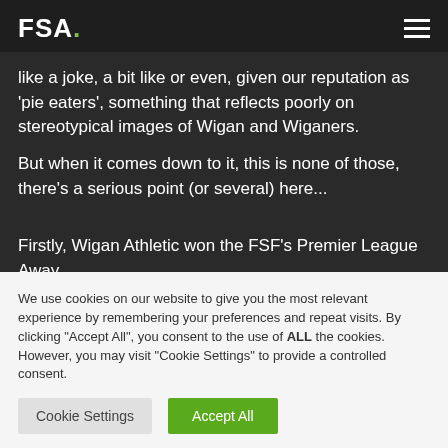FSA.
like a joke, a bit like or even, given our reputation as 'pie eaters', something that reflects poorly on stereotypical images of Wigan and Wiganers.
But when it comes down to it, this is none of those, there's a serious point (or several) here...
Firstly, Wigan Athletic won the FSF's Premier League Away
We use cookies on our website to give you the most relevant experience by remembering your preferences and repeat visits. By clicking "Accept All", you consent to the use of ALL the cookies. However, you may visit "Cookie Settings" to provide a controlled consent.
Cookie Settings | Accept All